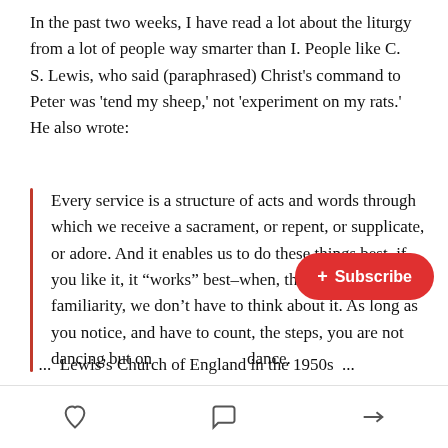In the past two weeks, I have read a lot about the liturgy from a lot of people way smarter than I. People like C. S. Lewis, who said (paraphrased) Christ’s command to Peter was ‘tend my sheep,’ not ‘experiment on my rats.’ He also wrote:
Every service is a structure of acts and words through which we receive a sacrament, or repent, or supplicate, or adore. And it enables us to do these things best–if you like it, it “works” best–when, through long familiarity, we don’t have to think about it. As long as you notice, and have to count, the steps, you are not dancing but on… dance.
... Lewis’s Church of England in the 1950s ...